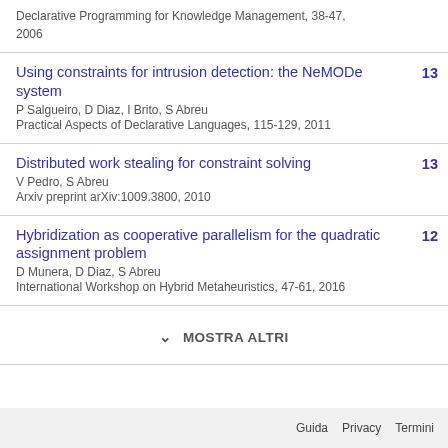Declarative Programming for Knowledge Management, 38-47, 2006
Using constraints for intrusion detection: the NeMODe system
P Salgueiro, D Diaz, I Brito, S Abreu
Practical Aspects of Declarative Languages, 115-129, 2011
13
Distributed work stealing for constraint solving
V Pedro, S Abreu
Arxiv preprint arXiv:1009.3800, 2010
13
Hybridization as cooperative parallelism for the quadratic assignment problem
D Munera, D Diaz, S Abreu
International Workshop on Hybrid Metaheuristics, 47-61, 2016
12
MOSTRA ALTRI
Guida   Privacy   Termini